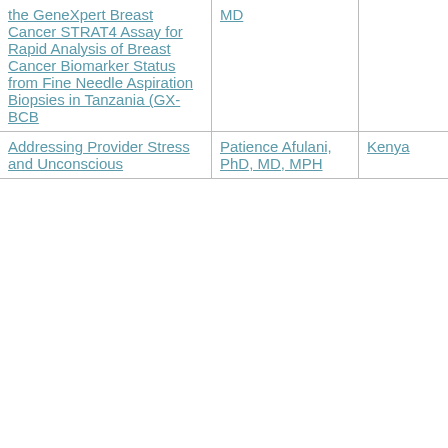| Study Title | PI | Country | Start Date | End Date |
| --- | --- | --- | --- | --- |
| the GeneXpert Breast Cancer STRAT4 Assay for Rapid Analysis of Breast Cancer Biomarker Status from Fine Needle Aspiration Biopsies in Tanzania (GX-BCB | MD |  |  |  |
| Addressing Provider Stress and Unconscious | Patience Afulani, PhD, MD, MPH | Kenya | 7/10/18 | 8/31/20 |